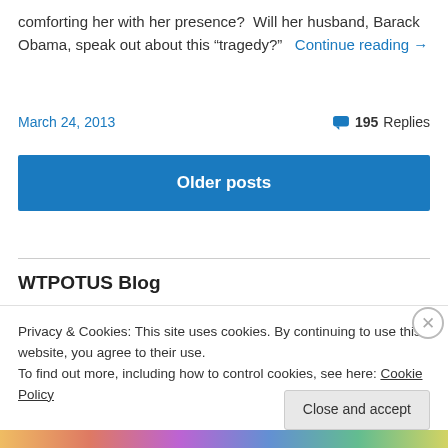comforting her with her presence?  Will her husband, Barack Obama, speak out about this “tragedy?”  Continue reading →
March 24, 2013   195 Replies
Older posts
WTPOTUS Blog
Privacy & Cookies: This site uses cookies. By continuing to use this website, you agree to their use.
To find out more, including how to control cookies, see here: Cookie Policy
Close and accept